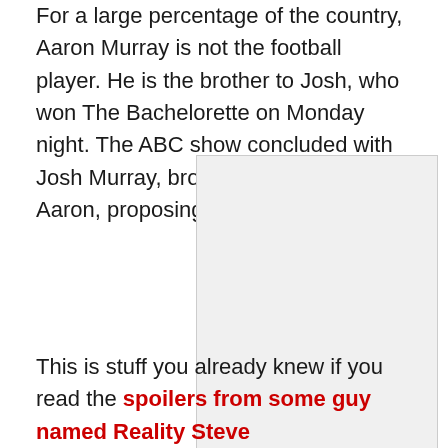For a large percentage of the country, Aaron Murray is not the football player. He is the brother to Josh, who won The Bachelorette on Monday night. The ABC show concluded with Josh Murray, brother of KC Chiefs QB Aaron, proposing to Andi Dorfman.
[Figure (photo): Image placeholder in the middle of the page]
This is stuff you already knew if you read the spoilers from some guy named Reality Steve